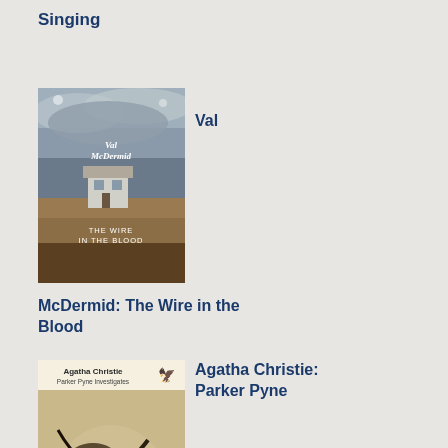Singing
[Figure (illustration): Book cover: Val McDermid - The Wire in the Blood, showing a remote cottage on a moor under a cloudy sky]
Val
McDermid: The Wire in the Blood
[Figure (illustration): Book cover: Agatha Christie - Parker Pyne Investigates, showing jewelry and accessories on a neutral background]
Agatha Christie: Parker Pyne
Investigates
firs tim I too in the det of his app The clo: cro dar hea the lea jaw the sca on his bro